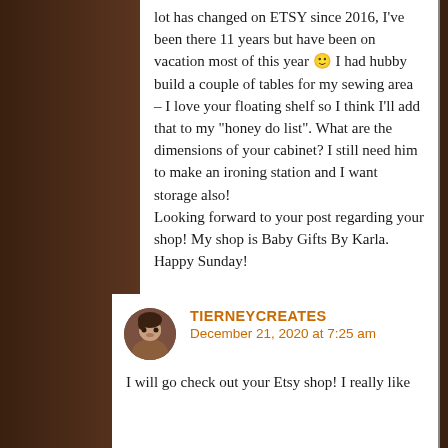lot has changed on ETSY since 2016, I've been there 11 years but have been on vacation most of this year 🙂 I had hubby build a couple of tables for my sewing area – I love your floating shelf so I think I'll add that to my "honey do list". What are the dimensions of your cabinet? I still need him to make an ironing station and I want storage also!
Looking forward to your post regarding your shop! My shop is Baby Gifts By Karla.
Happy Sunday!
★ Liked by 1 person
TIERNEYCREATES
December 21, 2020 at 7:25 am
I will go check out your Etsy shop! I really like